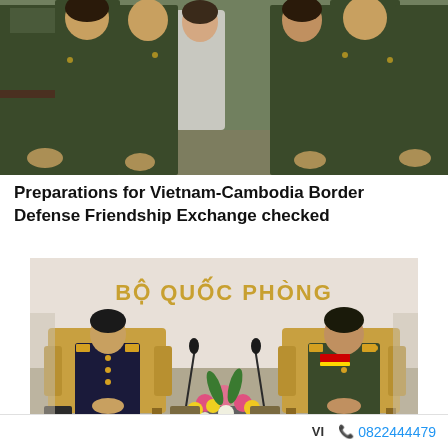[Figure (photo): Group photo of military personnel in green uniforms and a woman in civilian clothes standing together, partially cropped showing torsos and some faces]
Preparations for Vietnam-Cambodia Border Defense Friendship Exchange checked
[Figure (photo): Two military officials seated in armchairs in a formal meeting room with 'BỘ QUỐC PHÒNG' (Ministry of National Defence) signage on the wall. Flower arrangement in the foreground. One official in dark navy uniform on the left, one in green military uniform on the right.]
VI  📞0822444479